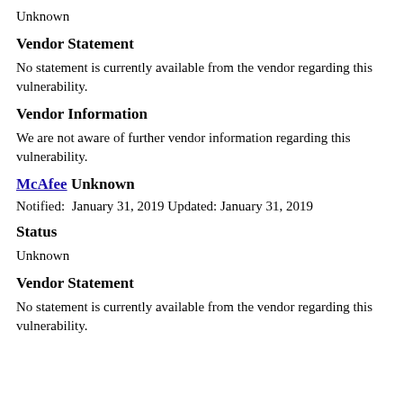Unknown
Vendor Statement
No statement is currently available from the vendor regarding this vulnerability.
Vendor Information
We are not aware of further vendor information regarding this vulnerability.
McAfee Unknown
Notified:  January 31, 2019 Updated: January 31, 2019
Status
Unknown
Vendor Statement
No statement is currently available from the vendor regarding this vulnerability.